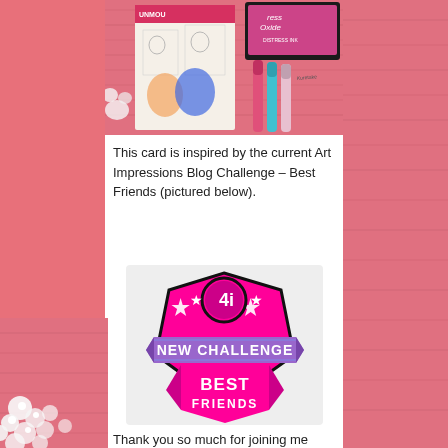[Figure (photo): Crafting supplies photo: rubber stamp set labeled UNMOU (unmounted clear stamps), coloring pens/markers in pink and teal, and a Tim Holtz Distress Oxide ink pad in pink on a pink wooden background.]
This card is inspired by the current Art Impressions Blog Challenge – Best Friends (pictured below).
[Figure (logo): Art Impressions (4i) New Challenge badge graphic: a badge/shield shape with hot pink background, purple ribbon banner reading 'NEW CHALLENGE', and hot pink bottom banner reading 'BEST FRIENDS'. Has a stylized '4i' logo at top center with stars on either side.]
Thank you so much for joining me today! If